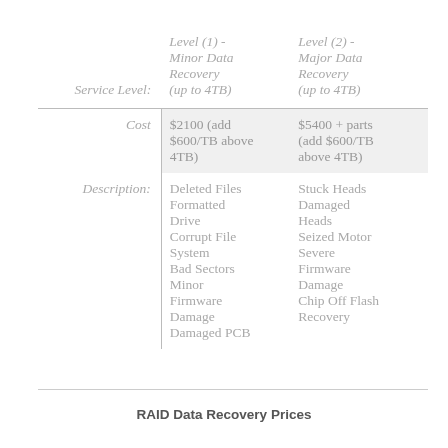| Service Level: | Level (1) - Minor Data Recovery (up to 4TB) | Level (2) - Major Data Recovery (up to 4TB) |
| --- | --- | --- |
| Cost | $2100 (add $600/TB above 4TB) | $5400 + parts (add $600/TB above 4TB) |
| Description: | Deleted Files
Formatted Drive
Corrupt File System
Bad Sectors
Minor Firmware Damage
Damaged PCB | Stuck Heads
Damaged Heads
Seized Motor
Severe Firmware Damage
Chip Off Flash Recovery |
RAID Data Recovery Prices